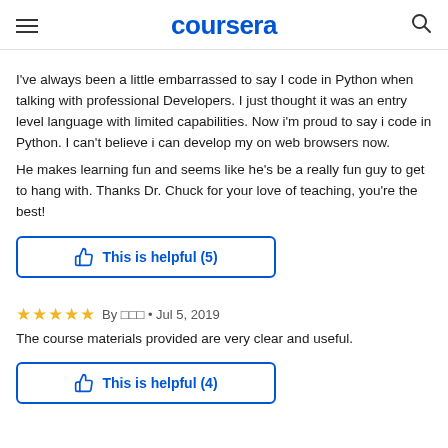coursera
I've always been a little embarrassed to say I code in Python when talking with professional Developers.  I just thought it was an entry level language with limited capabilities.  Now i'm proud to say i code in Python.  I can't believe i can develop my on web browsers now.

He makes learning fun and seems like he's be a really fun guy to get to hang with.  Thanks Dr. Chuck for your love of teaching, you're the best!
This is helpful (5)
By ??? • Jul 5, 2019
The course materials provided are very clear and useful.
This is helpful (4)